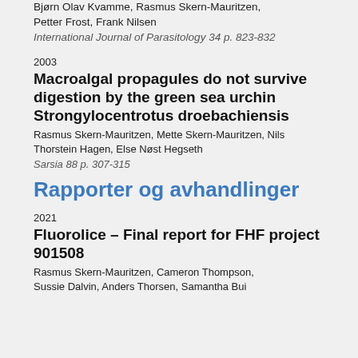Bjørn Olav Kvamme, Rasmus Skern-Mauritzen, Petter Frost, Frank Nilsen
International Journal of Parasitology 34 p. 823-832
2003
Macroalgal propagules do not survive digestion by the green sea urchin Strongylocentrotus droebachiensis
Rasmus Skern-Mauritzen, Mette Skern-Mauritzen, Nils Thorstein Hagen, Else Nøst Hegseth
Sarsia 88 p. 307-315
Rapporter og avhandlinger
2021
Fluorolice – Final report for FHF project 901508
Rasmus Skern-Mauritzen, Cameron Thompson, Sussie Dalvin, Anders Thorsen, Samantha Bui